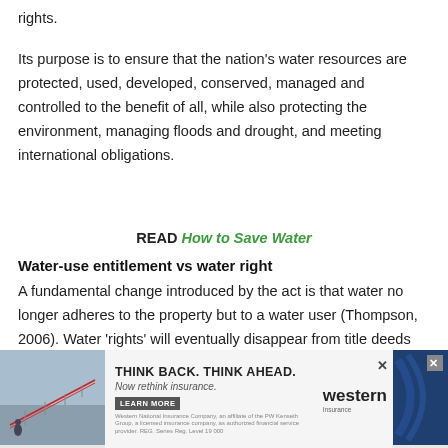rights.
Its purpose is to ensure that the nation's water resources are protected, used, developed, conserved, managed and controlled to the benefit of all, while also protecting the environment, managing floods and drought, and meeting international obligations.
READ How to Save Water
Water-use entitlement vs water right
A fundamental change introduced by the act is that water no longer adheres to the property but to a water user (Thompson, 2006). Water 'rights' will eventually disappear from title deeds
[Figure (infographic): Advertisement banner: THINK BACK. THINK AHEAD. Now rethink insurance. LEARN MORE. Western Insurance logo with blue stripe graphic and photo of irrigation equipment.]